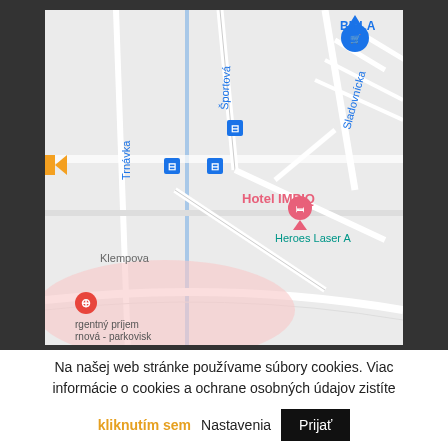[Figure (map): Google Maps screenshot showing Hotel IMPIQ location in Slovakia, with street names Trnávka, Športová, Sladovnícka, Klempova visible, bus stop icons, BILLA store marker, Heroes Laser Arena label, a pink marker for Hotel IMPIQ, and a hospital emergency marker at bottom left. A pink shaded area visible at bottom of map.]
Na našej web stránke používame súbory cookies. Viac informácie o cookies a ochrane osobných údajov zistíte
kliknutím sem   Nastavenia   Prijať